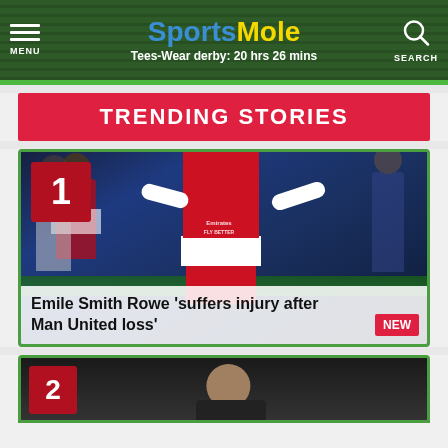Sports Mole — Tees-Wear derby: 20 hrs 26 mins
TRENDING STORIES
[Figure (photo): Arsenal player Emile Smith Rowe in red jersey celebrating, numbered badge '1' in top-left corner, with headline overlay: Emile Smith Rowe 'suffers injury after Man United loss' and NEW badge]
[Figure (photo): Story #2 partial image showing a person, numbered badge '2' in top-left corner]